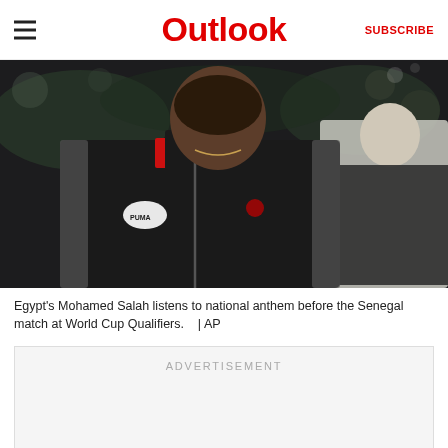Outlook | SUBSCRIBE
[Figure (photo): Egypt's Mohamed Salah in a black Puma tracksuit with Egyptian football federation badge, standing during national anthem before a match]
Egypt’s Mohamed Salah listens to national anthem before the Senegal match at World Cup Qualifiers.    | AP
[Figure (other): Advertisement placeholder box]